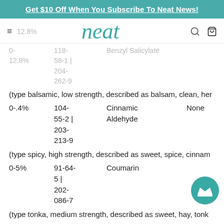Get $10 Off When You Subscribe To Neat News!
0-
12.8%	118-58-1 | 204-262-9	Benzyl Salicylate
(type balsamic, low strength, described as balsam, clean, her…
| 0-.4% | 104-55-2 | 203-213-9 | Cinnamic Aldehyde | None |
(type spicy, high strength, described as sweet, spice, cinnam…
| 0-5% | 91-64-5 | 202-086-7 | Coumarin |  |
(type tonka, medium strength, described as sweet, hay, tonk…